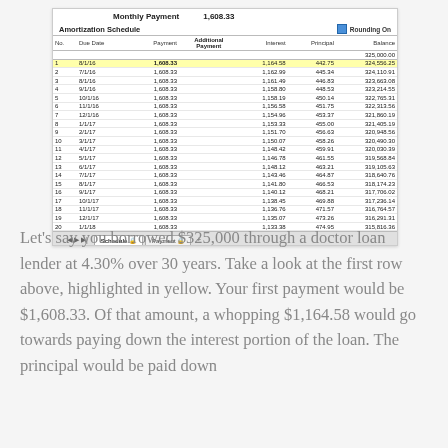[Figure (screenshot): Screenshot of an amortization schedule spreadsheet. Monthly Payment is 1,608.33. Table shows 20 rows with columns: No., Due Date, Payment, Additional Payment, Interest, Principal, Balance. First row (row 1, 8/1/16) is highlighted yellow with payment 1,608.33, interest 1,164.58, principal 442.75, balance 324,556.25. Starting balance shown as 325,000.00.]
Let's say you borrowed $325,000 through a doctor loan lender at 4.30% over 30 years. Take a look at the first row above, highlighted in yellow. Your first payment would be $1,608.33. Of that amount, a whopping $1,164.58 would go towards paying down the interest portion of the loan. The principal would be paid down